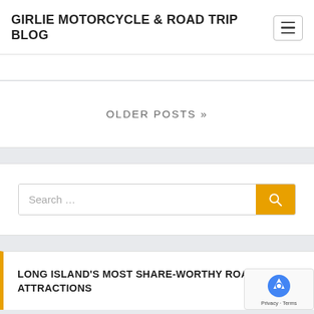GIRLIE MOTORCYCLE & ROAD TRIP BLOG
OLDER POSTS »
Search ...
LONG ISLAND'S MOST SHARE-WORTHY ROAD ATTRACTIONS